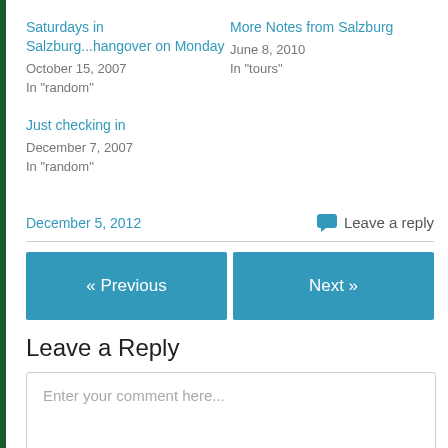Saturdays in Salzburg...hangover on Monday
October 15, 2007
In "random"
More Notes from Salzburg
June 8, 2010
In "tours"
Just checking in
December 7, 2007
In "random"
December 5, 2012
Leave a reply
« Previous
Next »
Leave a Reply
Enter your comment here...